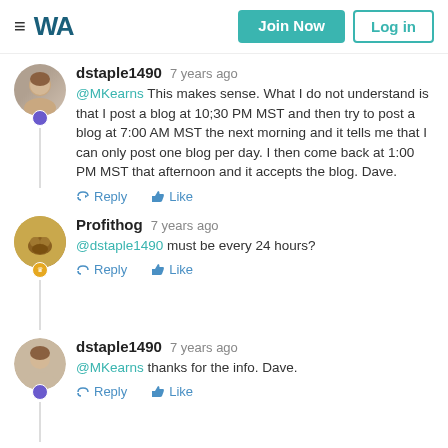WA — Join Now / Log in
dstaple1490  7 years ago
@MKearns This makes sense. What I do not understand is that I post a blog at 10;30 PM MST and then try to post a blog at 7:00 AM MST the next morning and it tells me that I can only post one blog per day. I then come back at 1:00 PM MST that afternoon and it accepts the blog. Dave.
Reply   Like
Profithog  7 years ago
@dstaple1490 must be every 24 hours?
Reply   Like
dstaple1490  7 years ago
@MKearns thanks for the info. Dave.
Reply   Like
MKearns  7 years ago